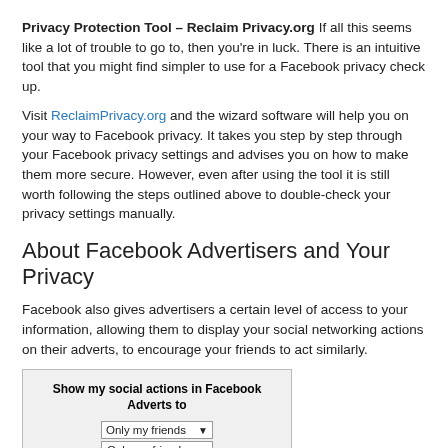Privacy Protection Tool – Reclaim Privacy.org  If all this seems like a lot of trouble to go to, then you're in luck. There is an intuitive tool that you might find simpler to use for a Facebook privacy check up.
Visit ReclaimPrivacy.org and the wizard software will help you on your way to Facebook privacy. It takes you step by step through your Facebook privacy settings and advises you on how to make them more secure. However, even after using the tool it is still worth following the steps outlined above to double-check your privacy settings manually.
About Facebook Advertisers and Your Privacy
Facebook also gives advertisers a certain level of access to your information, allowing them to display your social networking actions on their adverts, to encourage your friends to act similarly.
[Figure (screenshot): Screenshot of Facebook 'Show my social actions in Facebook Adverts to' setting, showing a dropdown with 'Only my friends' selected and a list with 'Only my friends' and 'No one' (highlighted in blue), plus Save Changes and Cancel buttons.]
To prevent this from happening, simply go to 'Account settings'  and next go to the Facebook adverts page and change the 'Only my friends' setting to 'No one'.  Remember that any privacy choice can impose limits on you, too.  It is worth noting that different levels of privacy will suit different